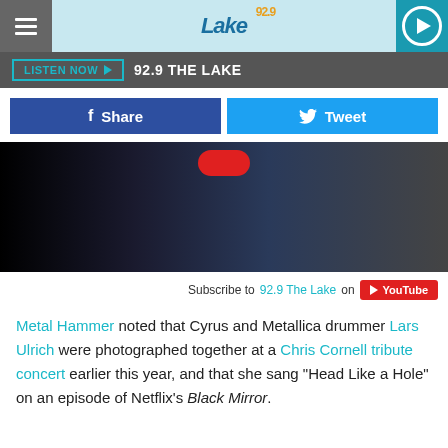92.9 THE LAKE — LISTEN NOW
[Figure (screenshot): Radio station 92.9 The Lake website header with hamburger menu, lake logo on light blue background, and teal play button]
LISTEN NOW ▶  92.9 THE LAKE
f Share   Tweet
[Figure (photo): Dark video thumbnail showing a person at drums/instruments with a red play button overlay at top center]
Subscribe to 92.9 The Lake on YouTube
Metal Hammer noted that Cyrus and Metallica drummer Lars Ulrich were photographed together at a Chris Cornell tribute concert earlier this year, and that she sang "Head Like a Hole" on an episode of Netflix's Black Mirror.